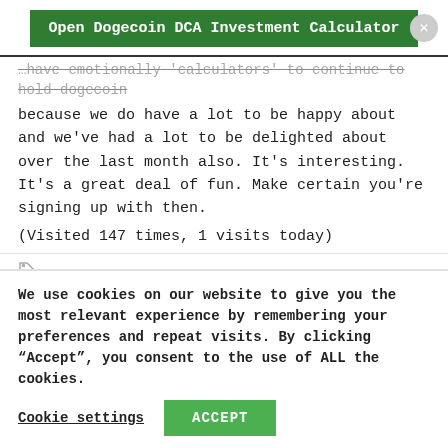[Figure (other): Green button labeled 'Open Dogecoin DCA Investment Calculator' with a gray circular close button on the right]
…have emotionally 'calculators' to continue to hold dogecoin because we do have a lot to be happy about and we've had a lot to be delighted about over the last month also. It's interesting. It's a great deal of fun. Make certain you're signing up with then.
(Visited 147 times, 1 visits today)
anyone get rich dogecoin, dogecoin can make you rich, dogecoin hold, dogecoin will make you rich, get rich dogecoin, how long should
We use cookies on our website to give you the most relevant experience by remembering your preferences and repeat visits. By clicking "Accept", you consent to the use of ALL the cookies.
Cookie settings
ACCEPT